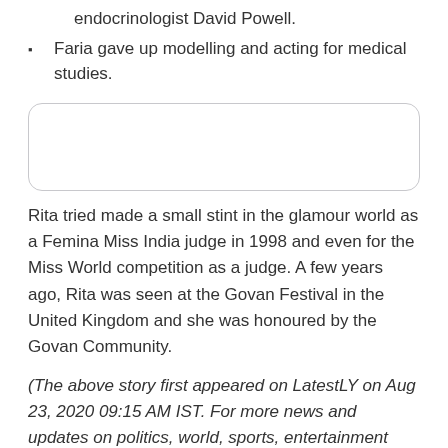endocrinologist David Powell.
Faria gave up modelling and acting for medical studies.
[Figure (other): Rounded rectangle placeholder box (empty, white with gray border)]
Rita tried made a small stint in the glamour world as a Femina Miss India judge in 1998 and even for the Miss World competition as a judge. A few years ago, Rita was seen at the Govan Festival in the United Kingdom and she was honoured by the Govan Community.
(The above story first appeared on LatestLY on Aug 23, 2020 09:15 AM IST. For more news and updates on politics, world, sports, entertainment and lifestyle, log on to our website latestly.com).
Lifestyle | Latest Information on Breaking News & Updates